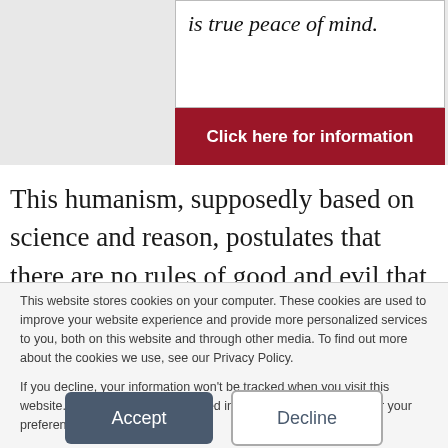[Figure (screenshot): Partial view of a website banner with italic script text reading 'is true peace of mind.' and a dark red button labeled 'Click here for information']
This humanism, supposedly based on science and reason, postulates that there are no rules of good and evil that humanity itself has not decreed, that there are no such things as divine or natural
This website stores cookies on your computer. These cookies are used to improve your website experience and provide more personalized services to you, both on this website and through other media. To find out more about the cookies we use, see our Privacy Policy.

If you decline, your information won't be tracked when you visit this website. A single cookie will be used in your browser to remember your preference not to be tracked.
Accept
Decline